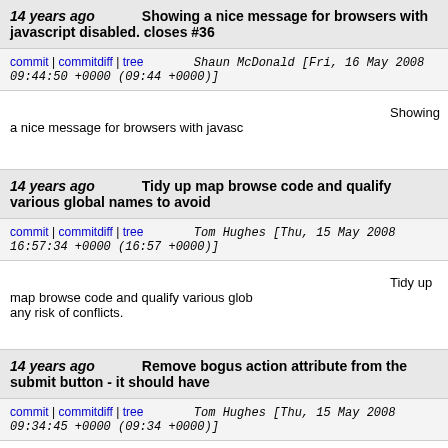14 years ago   Showing a nice message for browsers with javascript disabled. closes #36
commit | commitdiff | tree   Shaun McDonald [Fri, 16 May 2008 09:44:50 +0000 (09:44 +0000)]
Showing a nice message for browsers with javasc
14 years ago   Tidy up map browse code and qualify various global names to avoid
commit | commitdiff | tree   Tom Hughes [Thu, 15 May 2008 16:57:34 +0000 (16:57 +0000)]
Tidy up map browse code and qualify various glob any risk of conflicts.
14 years ago   Remove bogus action attribute from the submit button - it should have
commit | commitdiff | tree   Tom Hughes [Thu, 15 May 2008 09:34:45 +0000 (09:34 +0000)]
Remove bogus action attribute from the submit bu no effect as there is no such attribute defined, but decide that it should post the form to that URL inst give on the form element.